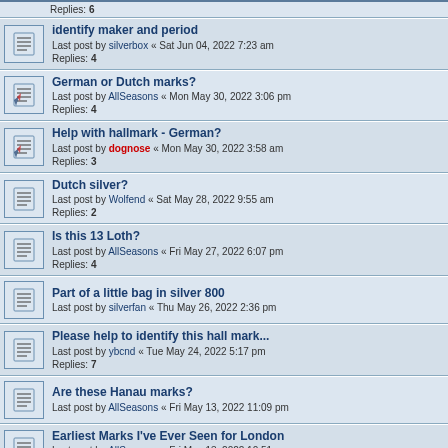Replies: 6
identify maker and period
Last post by silverbox « Sat Jun 04, 2022 7:23 am
Replies: 4
German or Dutch marks?
Last post by AllSeasons « Mon May 30, 2022 3:06 pm
Replies: 4
Help with hallmark - German?
Last post by dognose « Mon May 30, 2022 3:58 am
Replies: 3
Dutch silver?
Last post by Wolfend « Sat May 28, 2022 9:55 am
Replies: 2
Is this 13 Loth?
Last post by AllSeasons « Fri May 27, 2022 6:07 pm
Replies: 4
Part of a little bag in silver 800
Last post by silverfan « Thu May 26, 2022 2:36 pm
Please help to identify this hall mark...
Last post by ybcnd « Tue May 24, 2022 5:17 pm
Replies: 7
Are these Hanau marks?
Last post by AllSeasons « Fri May 13, 2022 11:09 pm
Earliest Marks I've Ever Seen for London
Last post by AllSeasons « Fri May 13, 2022 10:51 pm
Replies: 6
Very strange 15 Loth (?) candle holder
Last post by AllSeasons « Sun May 08, 2022 2:06 am
Replies: 2